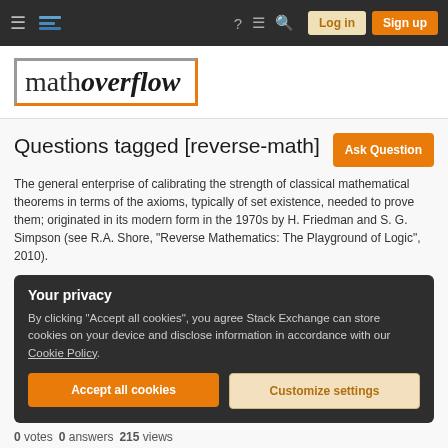MathOverflow navigation bar with hamburger menu, logo icon, help, chat, search icons, Log in and Sign up buttons
[Figure (logo): MathOverflow logo: text 'mathoverflow' in serif font inside an orange/grey partial border box]
Questions tagged [reverse-math]
The general enterprise of calibrating the strength of classical mathematical theorems in terms of the axioms, typically of set existence, needed to prove them; originated in its modern form in the 1970s by H. Friedman and S. G. Simpson (see R.A. Shore, "Reverse Mathematics: The Playground of Logic", 2010).
Your privacy
By clicking "Accept all cookies", you agree Stack Exchange can store cookies on your device and disclose information in accordance with our Cookie Policy.
Accept all cookies   Customize settings
0 votes  0 answers  215 views